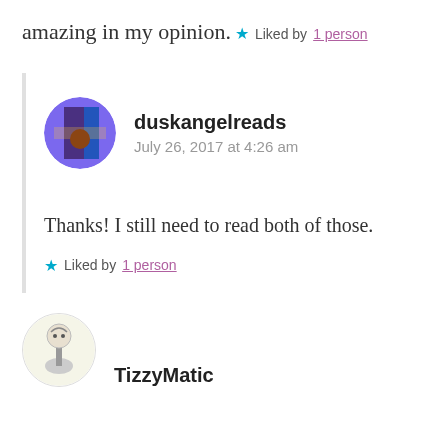amazing in my opinion.
★ Liked by 1 person
duskangelreads
July 26, 2017 at 4:26 am
Thanks! I still need to read both of those.
★ Liked by 1 person
TizzyMatic